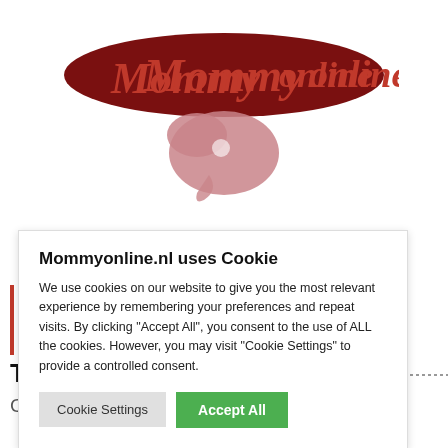[Figure (logo): Mommyonline logo with cursive red text and dark red oval, plus a pink heart/stork decorative element below]
Mommyonline.nl uses Cookie
We use cookies on our website to give you the most relevant experience by remembering your preferences and repeat visits. By clicking "Accept All", you consent to the use of ALL the cookies. However, you may visit "Cookie Settings" to provide a controlled consent.
Cookie Settings   Accept All
TAG: LEESTIP.
Cadeautip | Krabbelblok Alleen Voor Mannen!